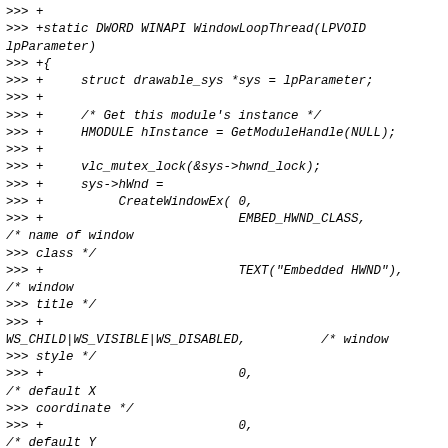>>> +
>>> +static DWORD WINAPI WindowLoopThread(LPVOID lpParameter)
>>> +{
>>> +     struct drawable_sys *sys = lpParameter;
>>> +
>>> +     /* Get this module's instance */
>>> +     HMODULE hInstance = GetModuleHandle(NULL);
>>> +
>>> +     vlc_mutex_lock(&sys->hwnd_lock);
>>> +     sys->hWnd =
>>> +          CreateWindowEx( 0,
>>> +                          EMBED_HWND_CLASS,
/* name of window
>>> class */
>>> +                          TEXT("Embedded HWND"),       /* window
>>> title */
>>> +
WS_CHILD|WS_VISIBLE|WS_DISABLED,       /* window
>>> style */
>>> +                          0,
/* default X
>>> coordinate */
>>> +                          0,
/* default Y
>>> coordinate */
>>> +                          RECTWidth(sys->rect_parent),  /* window
>>> width */
>>> +                          RECTHeight(sys-